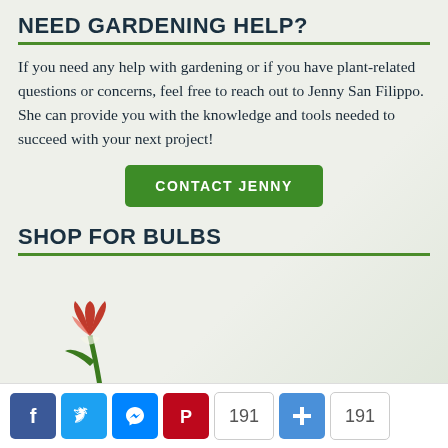NEED GARDENING HELP?
If you need any help with gardening or if you have plant-related questions or concerns, feel free to reach out to Jenny San Filippo. She can provide you with the knowledge and tools needed to succeed with your next project!
CONTACT JENNY
SHOP FOR BULBS
[Figure (illustration): Red and white tulip flower partially visible at the bottom left of the page]
[Figure (infographic): Social sharing bar with Facebook, Twitter, Messenger, Pinterest icons and share count 191, plus button, and total 191]